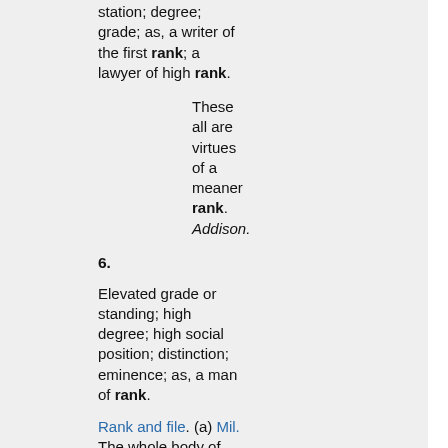station; degree; grade; as, a writer of the first rank; a lawyer of high rank.
These all are virtues of a meaner rank. Addison.
6.
Elevated grade or standing; high degree; high social position; distinction; eminence; as, a man of rank.
Rank and file. (a) Mil. The whole body of common soldiers, including also corporals. In a more extended sense, it includes sergeants also, excepting the noncommissioned staff.<-- analogously, the lowest ranking members of any